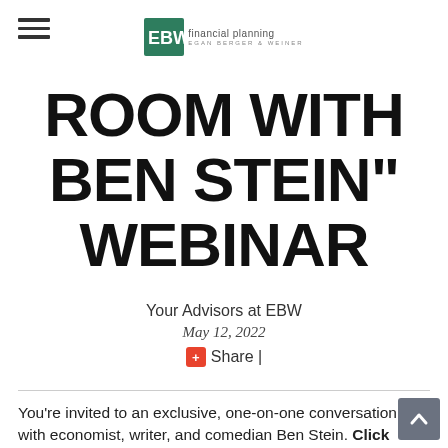[Figure (logo): EBW Financial Planning logo with green cube icon and text 'financial planning EGAN BERGER & WEINER']
ROOM WITH BEN STEIN" WEBINAR
Your Advisors at EBW
May 12, 2022
+ Share |
You're invited to an exclusive, one-on-one conversation with economist, writer, and comedian Ben Stein. Click here to sign up to watch the webinar! The event is on May 19, 2022 at 2 p.m. EST.
More than Ferris Bueller's economics teacher, Ben is a respected finance writer with a deep understanding of personal finance and how